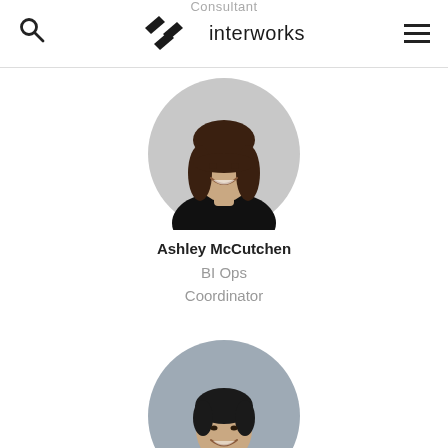Consultant
interworks (logo with nav icons)
[Figure (photo): Circular profile photo of Ashley McCutchen, a woman with long brown hair, smiling, wearing a black top, on a light gray background]
Ashley McCutchen
BI Ops Coordinator
[Figure (photo): Circular profile photo of a woman with short dark hair, smiling, wearing a black top, on a gray background]